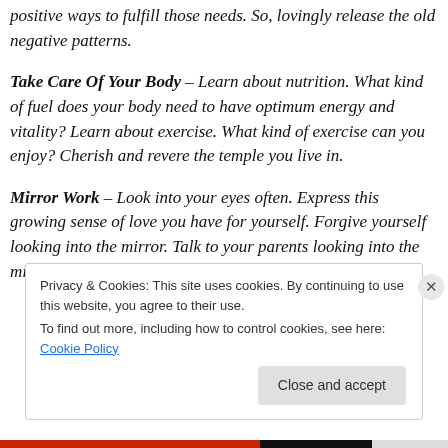positive ways to fulfill those needs. So, lovingly release the old negative patterns.
Take Care Of Your Body – Learn about nutrition. What kind of fuel does your body need to have optimum energy and vitality? Learn about exercise. What kind of exercise can you enjoy? Cherish and revere the temple you live in.
Mirror Work – Look into your eyes often. Express this growing sense of love you have for yourself. Forgive yourself looking into the mirror. Talk to your parents looking into the mirror. Forgive them too. At least once a
Privacy & Cookies: This site uses cookies. By continuing to use this website, you agree to their use.
To find out more, including how to control cookies, see here: Cookie Policy
Close and accept